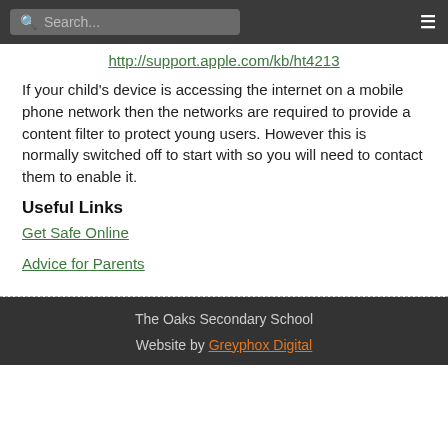Search... [hamburger menu]
http://support.apple.com/kb/ht4213
If your child's device is accessing the internet on a mobile phone network then the networks are required to provide a content filter to protect young users. However this is normally switched off to start with so you will need to contact them to enable it.
Useful Links
Get Safe Online
Advice for Parents
The Oaks Secondary School
Website by Greyphox Digital